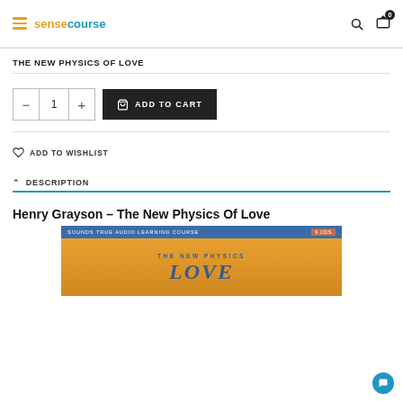sensecourse — navigation header with hamburger, logo, search and cart icons
THE NEW PHYSICS OF LOVE
Quantity: 1 — ADD TO CART
ADD TO WISHLIST
DESCRIPTION
Henry Grayson – The New Physics Of Love
[Figure (photo): Book cover for 'The New Physics of Love' — Sounds True Audio Learning Course, 9 CDs. Blue banner at top, orange/gold background with dark blue serif title text.]